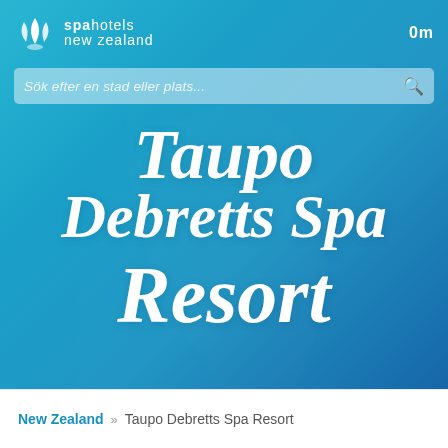[Figure (screenshot): Spa Hotels New Zealand website header with logo (leaf icon), site name 'spa hotels new zealand', distance indicator '0m', and a search bar with placeholder text 'Sök efter en stad eller plats...' on a teal/blue gradient background]
Taupo Debretts Spa Resort
New Zealand » Taupo Debretts Spa Resort